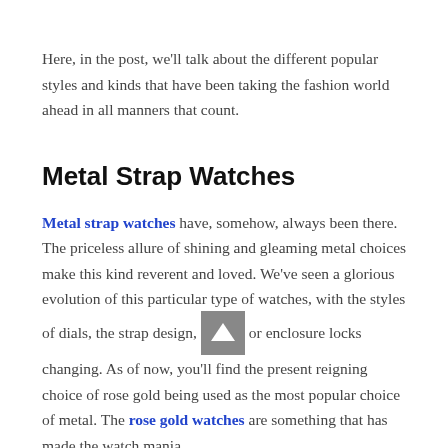Here, in the post, we'll talk about the different popular styles and kinds that have been taking the fashion world ahead in all manners that count.
Metal Strap Watches
Metal strap watches have, somehow, always been there. The priceless allure of shining and gleaming metal choices make this kind reverent and loved. We've seen a glorious evolution of this particular type of watches, with the styles of dials, the strap design, or enclosure locks changing. As of now, you'll find the present reigning choice of rose gold being used as the most popular choice of metal. The rose gold watches are something that has made the watch mania